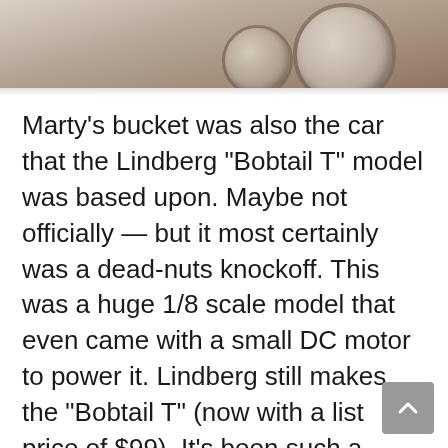[Figure (photo): Top portion of a vintage hot rod car photo, showing wheels and undercarriage detail in a faded/sepia-toned image]
Marty’s bucket was also the car that the Lindberg “Bobtail T” model was based upon. Maybe not officially — but it most certainly was a dead-nuts knockoff. This was a huge 1/8 scale model that even came with a small DC motor to power it. Lindberg still makes the “Bobtail T” (now with a list price of $99). It’s been such a venerable model kit that Lindberg even cloned it in another color and offers it as the “Big Red Rod”.